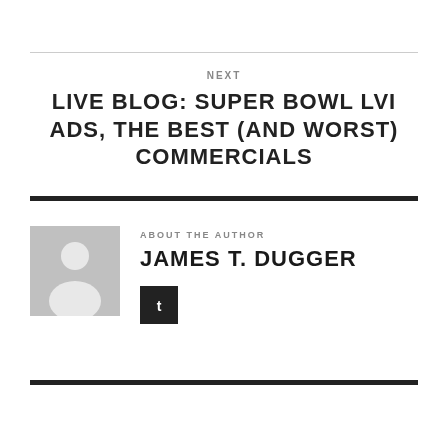NEXT
LIVE BLOG: SUPER BOWL LVI ADS, THE BEST (AND WORST) COMMERCIALS
ABOUT THE AUTHOR
JAMES T. DUGGER
[Figure (illustration): Author avatar placeholder with silhouette of a person on grey background]
[Figure (other): Dark square social media button with small icon]